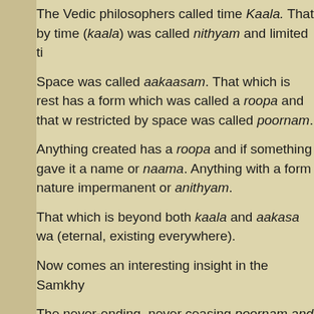The Vedic philosophers called time Kaala. That by time (kaala) was called nithyam and limited ti
Space was called aakaasam. That which is rest has a form which was called a roopa and that w restricted by space was called poornam.
Anything created has a roopa and if something gave it a name or naama. Anything with a form nature impermanent or anithyam.
That which is beyond both kaala and aakasa wa (eternal, existing everywhere).
Now comes an interesting insight in the Samkhy
The never-ending, never ceasing poornam and form of naada (sound, not any sound, which is